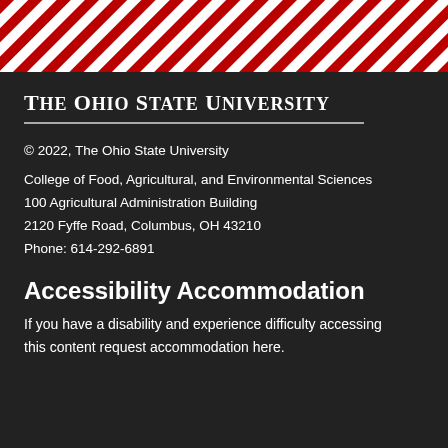[Figure (other): Diagonal red and white candy-stripe pattern header bar]
The Ohio State University
© 2022, The Ohio State University
College of Food, Agricultural, and Environmental Sciences
100 Agricultural Administration Building
2120 Fyffe Road, Columbus, OH 43210
Phone: 614-292-6891
Accessibility Accommodation
If you have a disability and experience difficulty accessing this content request accommodation here.